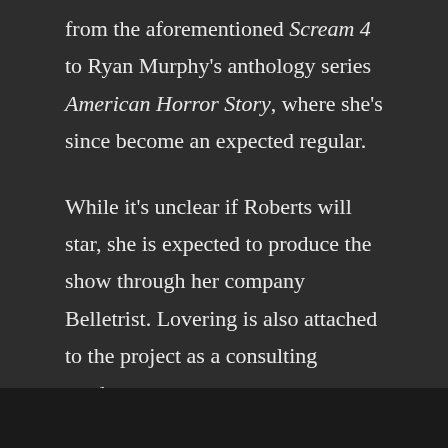from the aforementioned Scream 4 to Ryan Murphy's anthology series American Horror Story, where she's since become an expected regular.
While it's unclear if Roberts will star, she is expected to produce the show through her company Belletrist. Lovering is also attached to the project as a consulting producer.
Source: Deadline